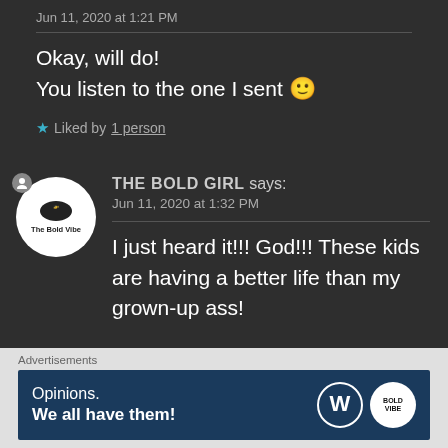Jun 11, 2020 at 1:21 PM
Okay, will do!
You listen to the one I sent 🙂
★ Liked by 1 person
THE BOLD GIRL says:
Jun 11, 2020 at 1:32 PM
I just heard it!!! God!!! These kids are having a better life than my grown-up ass!
Advertisements
[Figure (screenshot): WordPress advertisement banner: Opinions. We all have them! with WordPress and Bold logo]